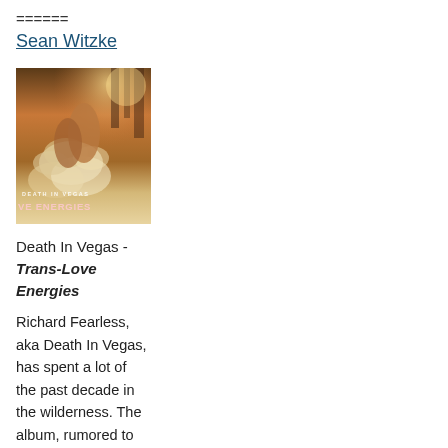======
Sean Witzke
[Figure (photo): Album cover for Death In Vegas - Trans-Love Energies showing a warm-toned photo of a person with fluffy/feathery accessories in an outdoor setting with trees, with album title text overlaid]
Death In Vegas - Trans-Love Energies
Richard Fearless, aka Death In Vegas, has spent a lot of the past decade in the wilderness. The album, rumored to